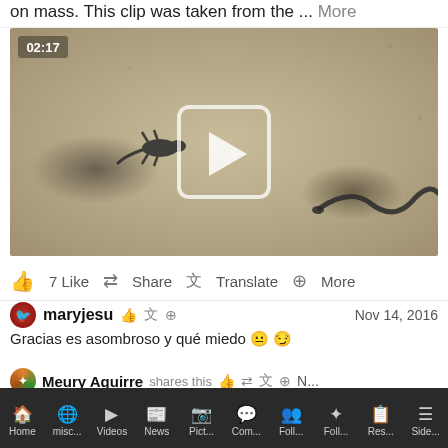on mass. This clip was taken from the ... More
[Figure (screenshot): Video thumbnail showing a lizard and a snake on sandy ground, with a play button overlay and timestamp 02:17]
👍 7 Like  Share  Translate  More
maryjesu  Nov 14, 2016
Gracias es asombroso y qué miedo 😐 😏
Meury Aguirre shares this  N...
La lucha por la supervivencia, está de miedo...
Home  misc...  Videos  News  Pict...  Com...  Foll...  Foll...  Res...  Side...